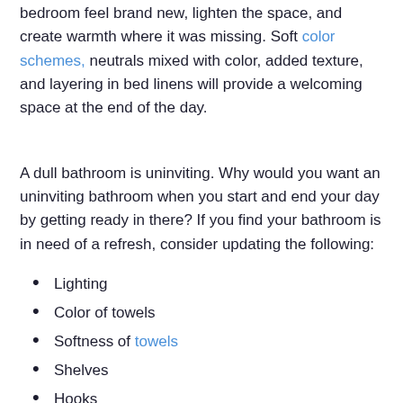bedroom feel brand new, lighten the space, and create warmth where it was missing. Soft color schemes, neutrals mixed with color, added texture, and layering in bed linens will provide a welcoming space at the end of the day.
A dull bathroom is uninviting. Why would you want an uninviting bathroom when you start and end your day by getting ready in there? If you find your bathroom is in need of a refresh, consider updating the following:
Lighting
Color of towels
Softness of towels
Shelves
Hooks
Soaps
A Spark of Pizzazz